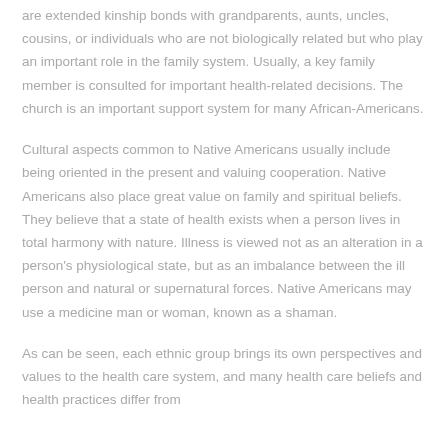are extended kinship bonds with grandparents, aunts, uncles, cousins, or individuals who are not biologically related but who play an important role in the family system. Usually, a key family member is consulted for important health-related decisions. The church is an important support system for many African-Americans.
Cultural aspects common to Native Americans usually include being oriented in the present and valuing cooperation. Native Americans also place great value on family and spiritual beliefs. They believe that a state of health exists when a person lives in total harmony with nature. Illness is viewed not as an alteration in a person's physiological state, but as an imbalance between the ill person and natural or supernatural forces. Native Americans may use a medicine man or woman, known as a shaman.
As can be seen, each ethnic group brings its own perspectives and values to the health care system, and many health care beliefs and health practices differ from